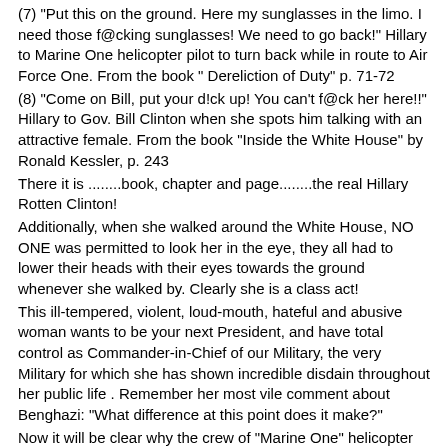(7) "Put this on the ground. Here my sunglasses in the limo. I need those f@cking sunglasses! We need to go back!" Hillary to Marine One helicopter pilot to turn back while in route to Air Force One. From the book " Dereliction of Duty" p. 71-72
(8) "Come on Bill, put your d!ck up! You can't f@ck her here!!" Hillary to Gov. Bill Clinton when she spots him talking with an attractive female. From the book "Inside the White House" by Ronald Kessler, p. 243
There it is ........book, chapter and page........the real Hillary Rotten Clinton!
Additionally, when she walked around the White House, NO ONE was permitted to look her in the eye, they all had to lower their heads with their eyes towards the ground whenever she walked by. Clearly she is a class act!
This ill-tempered, violent, loud-mouth, hateful and abusive woman wants to be your next President, and have total control as Commander-in-Chief of our Military, the very Military for which she has shown incredible disdain throughout her public life . Remember her most vile comment about Benghazi: "What difference at this point does it make?"
Now it will be clear why the crew of "Marine One" helicopter nick-named the craft, "Broomstick ONE " – courtesy of Christina Plantz